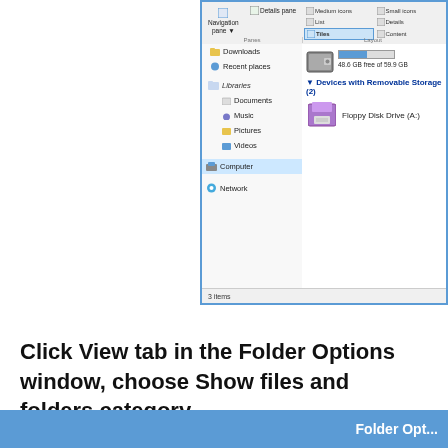[Figure (screenshot): Windows Explorer window showing Navigation pane with Downloads, Recent places, Libraries (Documents, Music, Pictures, Videos), Computer (selected/highlighted), Network entries, and content area showing a hard drive with 48.6 GB free of 59.9 GB, Devices with Removable Storage (2), and Floppy Disk Drive (A:). Ribbon bar at top shows Details pane, List, Tiles (selected/highlighted), Content, Details layout options. Status bar shows '3 items'.]
Click View tab in the Folder Options window, choose Show files and folders category
[Figure (screenshot): Bottom portion of a Folder Options dialog window, showing blue title bar with 'Folder Opt...' text visible.]